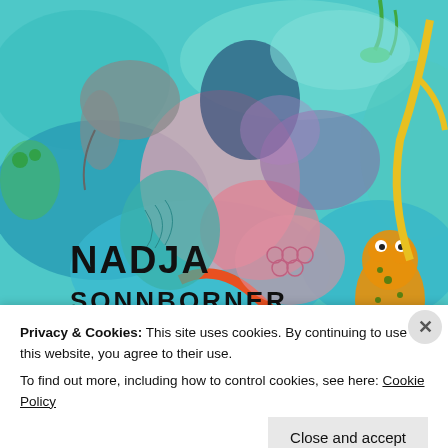[Figure (illustration): Colorful abstract artwork with animal and nature motifs in teal, pink, orange, blue colors. Features an elephant, frog, fish and other organic shapes. Text 'NADJA SONNBORNER' appears in the lower left in bold black letters.]
Privacy & Cookies: This site uses cookies. By continuing to use this website, you agree to their use.
To find out more, including how to control cookies, see here: Cookie Policy
Close and accept